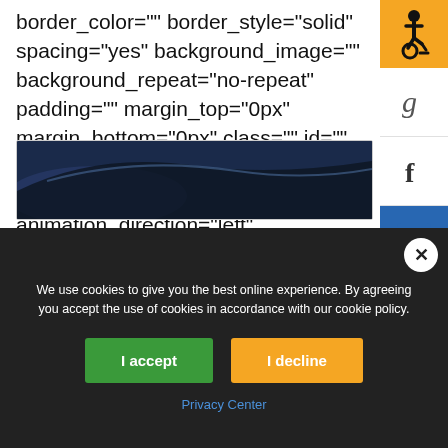border_color="" border_style="solid" spacing="yes" background_image="" background_repeat="no-repeat" padding="" margin_top="0px" margin_bottom="0px" class="" id="" animation_type="" animation_speed="0.3" animation_direction="left" hide_on_mobile="no" center_content="no" min_height="none"]
[Figure (screenshot): Partial view of a dark car image]
[Figure (screenshot): Right sidebar with accessibility icon (orange background with wheelchair symbol), Google icon, Facebook icon, LinkedIn icon, and Twitter icon]
We use cookies to give you the best online experience. By agreeing you accept the use of cookies in accordance with our cookie policy.
I accept
I decline
Privacy Center